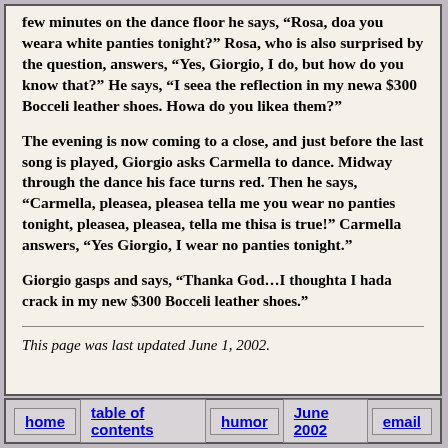few minutes on the dance floor he says, “Rosa, doa you weara white panties tonight?” Rosa, who is also surprised by the question, answers, “Yes, Giorgio, I do, but how do you know that?” He says, “I seea the reflection in my newa $300 Bocceli leather shoes. Howa do you likea them?”
The evening is now coming to a close, and just before the last song is played, Giorgio asks Carmella to dance. Midway through the dance his face turns red. Then he says, “Carmella, pleasea, pleasea tella me you wear no panties tonight, pleasea, pleasea, tella me thisa is true!” Carmella answers, “Yes Giorgio, I wear no panties tonight.”
Giorgio gasps and says, “Thanka God…I thoughta I hada crack in my new $300 Bocceli leather shoes.”
This page was last updated June 1, 2002.
home | table of contents | humor | June 2002 | email